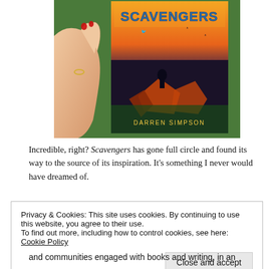[Figure (photo): A hand with red nail polish holding up a book titled 'Scavengers' by Darren Simpson. The book cover features a dramatic orange/sunset scene with a silhouetted figure on top of debris. The background shows green foliage outdoors.]
Incredible, right? Scavengers has gone full circle and found its way to the source of its inspiration. It's something I never would have dreamed of.
Privacy & Cookies: This site uses cookies. By continuing to use this website, you agree to their use.
To find out more, including how to control cookies, see here: Cookie Policy
Close and accept
and communities engaged with books and writing, in an